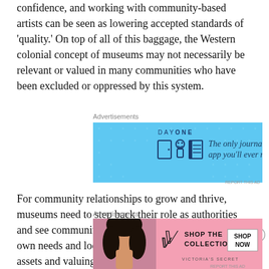confidence, and working with community-based artists can be seen as lowering accepted standards of 'quality.' On top of all of this baggage, the Western colonial concept of museums may not necessarily be relevant or valued in many communities who have been excluded or oppressed by this system.
[Figure (other): Advertisement banner for Day One journaling app with blue background, icons and text 'The only journaling app you'll ever need.']
For community relationships to grow and thrive, museums need to step back their role as authorities and see community members as experts on their own needs and local assets. Identifying community assets and valuing resident participation works to empower residents and legitimize these community partnerships. Stacey Marie Garcia, Director of
[Figure (other): Advertisement banner for Victoria's Secret with pink background, model photo, VS logo, text 'SHOP THE COLLECTION' and 'SHOP NOW' button.]